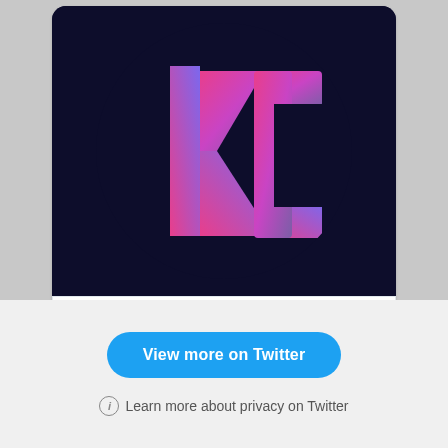[Figure (logo): Hilty Consulting LLC logo: dark navy circular background with a stylized 'KC' monogram in pink-to-purple gradient]
makingmathmakesense.org
A New Chapter Begins • Hilty Consulting LLC
[Figure (other): Social media action icons: comment bubble and heart/like icon with count '1']
View more on Twitter
Learn more about privacy on Twitter